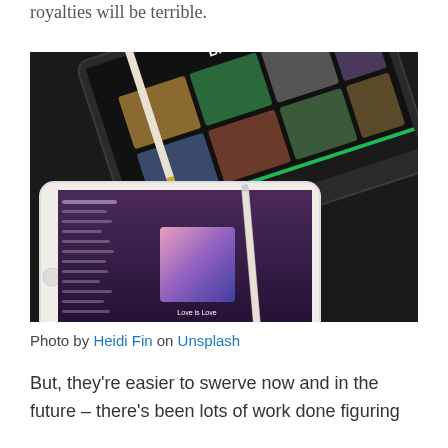royalties will be terrible.
[Figure (photo): Two iPads on a dark surface displaying the Spotify app — one showing the Browse screen with album artwork, another showing a purple playlist screen with 'Love is Love' album art and a pencil stylus resting on top.]
Photo by Heidi Fin on Unsplash
But, they're easier to swerve now and in the future – there's been lots of work done figuring out what artists should be paid in terms and